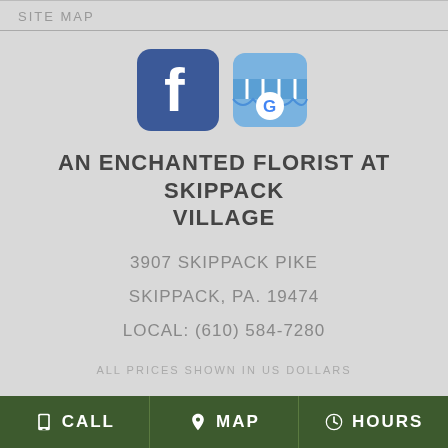SITE MAP
[Figure (logo): Facebook logo icon and Google My Business store icon side by side]
AN ENCHANTED FLORIST AT SKIPPACK VILLAGE
3907 SKIPPACK PIKE
SKIPPACK, PA. 19474
LOCAL: (610) 584-7280
ALL PRICES SHOWN IN US DOLLARS
CALL  MAP  HOURS